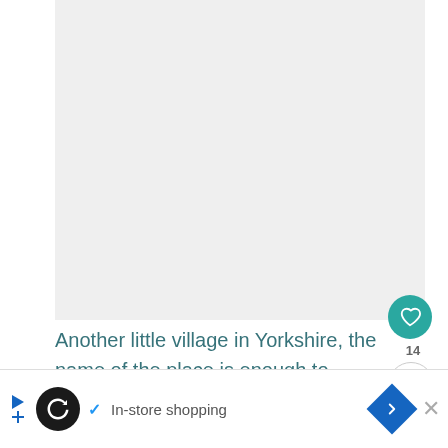[Figure (photo): Light grey placeholder image area representing an article photo]
[Figure (other): Teal circular heart/like button with count 14 and share button]
Another little village in Yorkshire, the name of the place is enough to provoke a snigger even from Tommy Lee Jones. Did you know that the
[Figure (other): Advertisement bar at the bottom with Loops logo, In-store shopping text, navigation arrow icon, and close button]